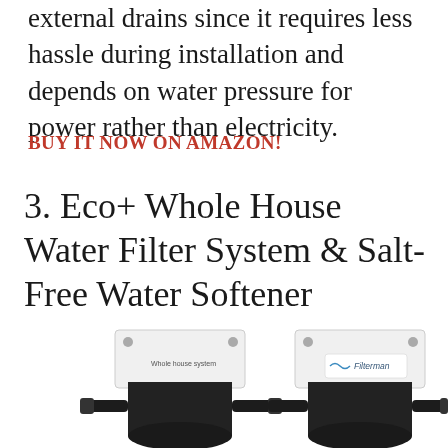external drains since it requires less hassle during installation and depends on water pressure for power rather than electricity.
BUY IT NOW ON AMAZON!
3. Eco+ Whole House Water Filter System & Salt-Free Water Softener
[Figure (photo): Two whole house water filter units side by side, black cylindrical housings with white mounting brackets; one bracket shows a Filterman logo label]